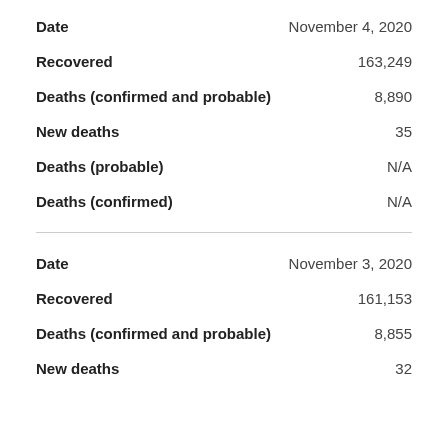| Field | Value |
| --- | --- |
| Date | November 4, 2020 |
| Recovered | 163,249 |
| Deaths (confirmed and probable) | 8,890 |
| New deaths | 35 |
| Deaths (probable) | N/A |
| Deaths (confirmed) | N/A |
| Date | November 3, 2020 |
| Recovered | 161,153 |
| Deaths (confirmed and probable) | 8,855 |
| New deaths | 32 |